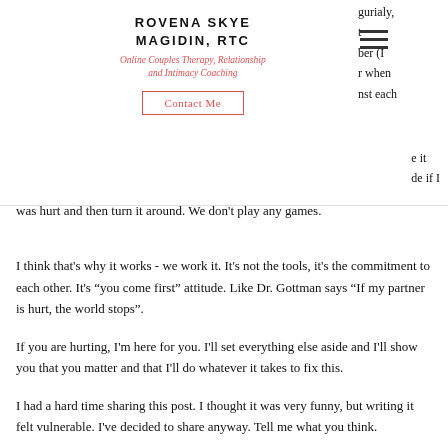ROVENA SKYE MAGIDIN, RTC
Online Couples Therapy, Relationship and Intimacy Coaching
was hurt and then turn it around. We don't play any games.
I think that's why it works - we work it. It's not the tools, it's the commitment to each other. It's “you come first” attitude. Like Dr. Gottman says “If my partner is hurt, the world stops”.
If you are hurting, I'm here for you. I'll set everything else aside and I'll show you that you matter and that I'll do whatever it takes to fix this.
I had a hard time sharing this post. I thought it was very funny, but writing it felt vulnerable. I've decided to share anyway. Tell me what you think.